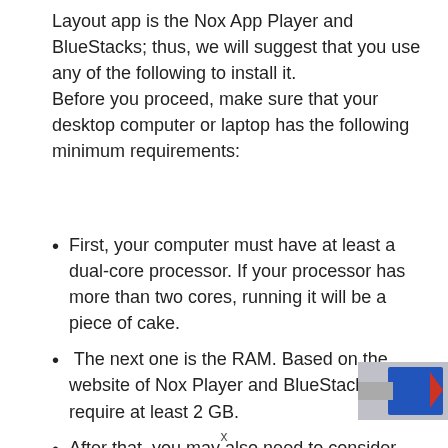Layout app is the Nox App Player and BlueStacks; thus, we will suggest that you use any of the following to install it.
Before you proceed, make sure that your desktop computer or laptop has the following minimum requirements:
First, your computer must have at least a dual-core processor. If your processor has more than two cores, running it will be a piece of cake.
The next one is the RAM. Based on the website of Nox Player and BlueStacks, they require at least 2 GB.
After that, you may also need to consider checking your hard drive space. Have a...